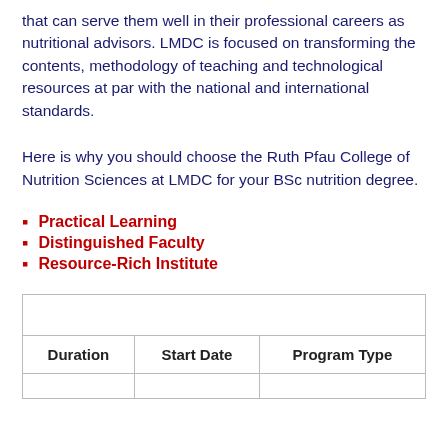that can serve them well in their professional careers as nutritional advisors. LMDC is focused on transforming the contents, methodology of teaching and technological resources at par with the national and international standards.
Here is why you should choose the Ruth Pfau College of Nutrition Sciences at LMDC for your BSc nutrition degree.
Practical Learning
Distinguished Faculty
Resource-Rich Institute
| Duration | Start Date | Program Type |
| --- | --- | --- |
|  |